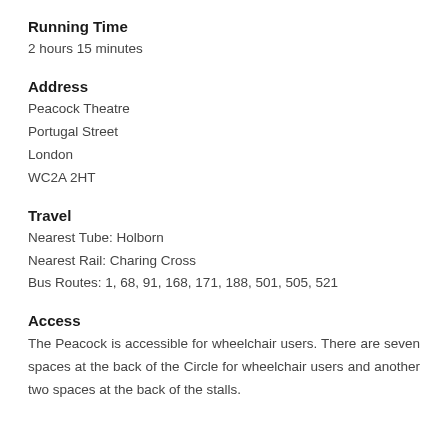Running Time
2 hours 15 minutes
Address
Peacock Theatre
Portugal Street
London
WC2A 2HT
Travel
Nearest Tube: Holborn
Nearest Rail: Charing Cross
Bus Routes: 1, 68, 91, 168, 171, 188, 501, 505, 521
Access
The Peacock is accessible for wheelchair users. There are seven spaces at the back of the Circle for wheelchair users and another two spaces at the back of the stalls.